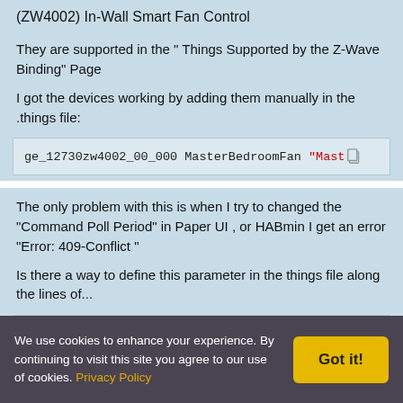(ZW4002) In-Wall Smart Fan Control
They are supported in the " Things Supported by the Z-Wave Binding" Page
I got the devices working by adding them manually in the .things file:
ge_12730zw4002_00_000 MasterBedroomFan "Mast…
The only problem with this is when I try to changed the "Command Poll Period" in Paper UI , or HABmin I get an error "Error: 409-Conflict "
Is there a way to define this parameter in the things file along the lines of...
ge_12730zw4002_00_000 MasterBedroomFan "Mast…
We use cookies to enhance your experience. By continuing to visit this site you agree to our use of cookies. Privacy Policy